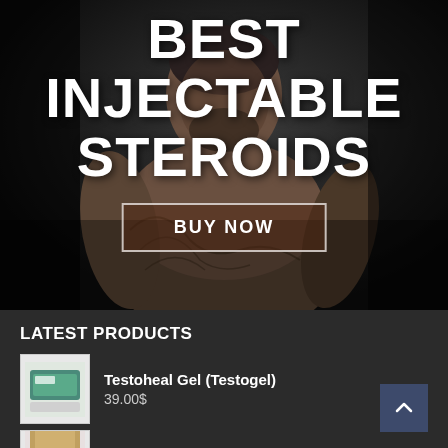[Figure (photo): Muscular tattooed man (shirtless) against dark background, used as hero image for steroid product advertisement]
BEST INJECTABLE STEROIDS
BUY NOW
LATEST PRODUCTS
Testoheal Gel (Testogel)
39.00$